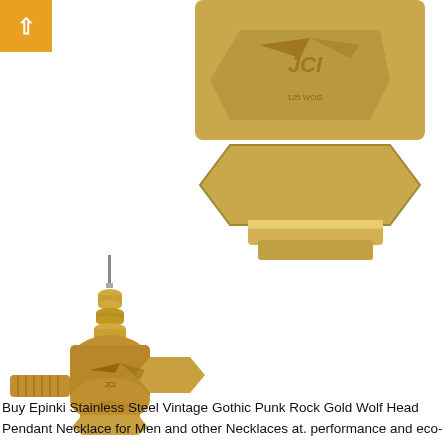[Figure (photo): Close-up photo of a brass/bronze industrial valve body with hexagonal fitting, showing JCI branding markings on the body, white background.]
[Figure (photo): Smaller brass/bronze three-way control valve with a protruding stem and threaded pipe connections, white background.]
Buy Epinki Stainless Steel Vintage Gothic Punk Rock Gold Wolf Head Pendant Necklace for Men and other Necklaces at. performance and eco-